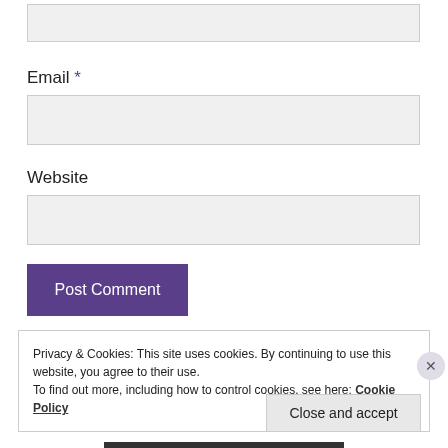[Figure (screenshot): Text input field (top, partially visible, light gray background)]
Email *
[Figure (screenshot): Email text input field (light gray background)]
Website
[Figure (screenshot): Website text input field (light gray background)]
Post Comment
Privacy & Cookies: This site uses cookies. By continuing to use this website, you agree to their use.
To find out more, including how to control cookies, see here: Cookie Policy
Close and accept